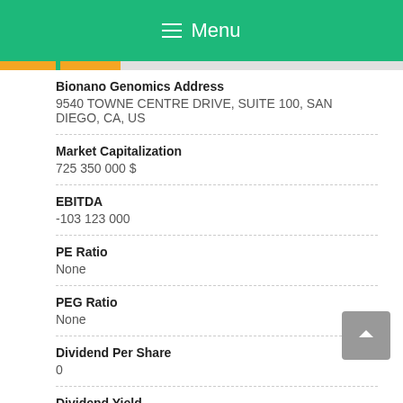Menu
Bionano Genomics Address
9540 TOWNE CENTRE DRIVE, SUITE 100, SAN DIEGO, CA, US
Market Capitalization
725 350 000 $
EBITDA
-103 123 000
PE Ratio
None
PEG Ratio
None
Dividend Per Share
0
Dividend Yield
0
EPS
-0.228